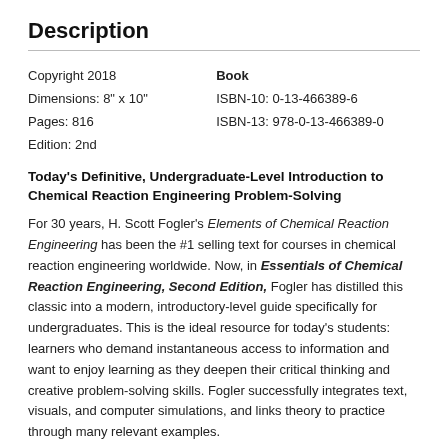Description
Copyright 2018
Dimensions: 8" x 10"
Pages: 816
Edition: 2nd
Book
ISBN-10: 0-13-466389-6
ISBN-13: 978-0-13-466389-0
Today's Definitive, Undergraduate-Level Introduction to Chemical Reaction Engineering Problem-Solving
For 30 years, H. Scott Fogler's Elements of Chemical Reaction Engineering has been the #1 selling text for courses in chemical reaction engineering worldwide. Now, in Essentials of Chemical Reaction Engineering, Second Edition, Fogler has distilled this classic into a modern, introductory-level guide specifically for undergraduates. This is the ideal resource for today's students: learners who demand instantaneous access to information and want to enjoy learning as they deepen their critical thinking and creative problem-solving skills. Fogler successfully integrates text, visuals, and computer simulations, and links theory to practice through many relevant examples.